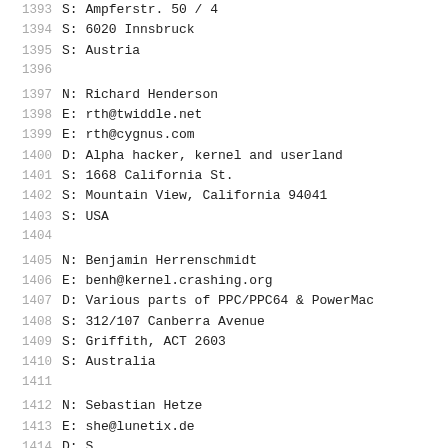1393   S: Ampferstr. 50 / 4
1394   S: 6020 Innsbruck
1395   S: Austria
1396
1397   N: Richard Henderson
1398   E: rth@twiddle.net
1399   E: rth@cygnus.com
1400   D: Alpha hacker, kernel and userland
1401   S: 1668 California St.
1402   S: Mountain View, California 94041
1403   S: USA
1404
1405   N: Benjamin Herrenschmidt
1406   E: benh@kernel.crashing.org
1407   D: Various parts of PPC/PPC64 & PowerMac
1408   S: 312/107 Canberra Avenue
1409   S: Griffith, ACT 2603
1410   S: Australia
1411
1412   N: Sebastian Hetze
1413   E: she@lunetix.de
1414   D: Some missing D... (partial)